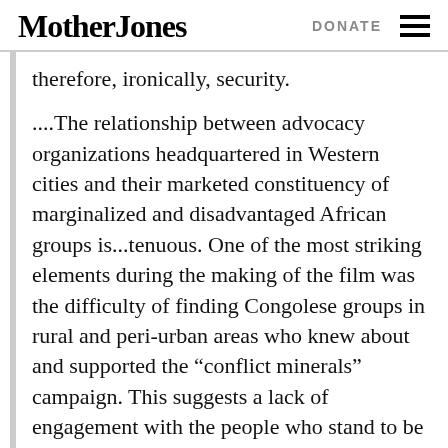Mother Jones | DONATE
therefore, ironically, security.
....The relationship between advocacy organizations headquartered in Western cities and their marketed constituency of marginalized and disadvantaged African groups is...tenuous. One of the most striking elements during the making of the film was the difficulty of finding Congolese groups in rural and peri-urban areas who knew about and supported the “conflict minerals” campaign. This suggests a lack of engagement with the people who stand to be most directly affected by campaign outcomes.